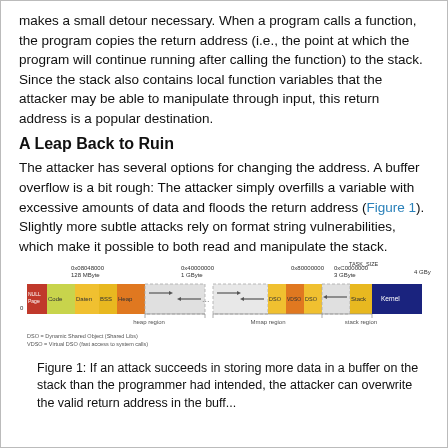makes a small detour necessary. When a program calls a function, the program copies the return address (i.e., the point at which the program will continue running after calling the function) to the stack. Since the stack also contains local function variables that the attacker may be able to manipulate through input, this return address is a popular destination.
A Leap Back to Ruin
The attacker has several options for changing the address. A buffer overflow is a bit rough: The attacker simply overfills a variable with excessive amounts of data and floods the return address (Figure 1). Slightly more subtle attacks rely on format string vulnerabilities, which make it possible to both read and manipulate the stack.
[Figure (infographic): Memory layout diagram showing segments of a process address space from 0 to 4 GByte. Labeled segments from left to right: NULL Page (red), Code (yellow-green), Daten (yellow), BSS (yellow), Heap (orange/yellow), arrows indicating heap and mmap regions, DSO, VDSO, DSO (orange shades), Stack (yellow), Kernel (dark blue). Labels below show heap region, Mmap region, stack region. Addresses marked: 0x08048000 128 MByte, 0x40000000 1 GByte, 0x80000000, 0xC0000000 3 GByte, 4 GByte. TASK_SIZE noted at top right.]
DSO = Dynamic Shared Object (Shared Libs)    VDSO = Virtual DSO (fast access to system calls)
Figure 1: If an attack succeeds in storing more data in a buffer on the stack than the programmer had intended, the attacker can overwrite the valid return address in the buff...